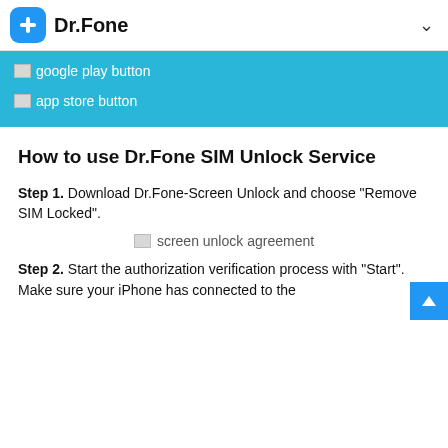Dr.Fone
[Figure (screenshot): Blue banner with broken image placeholders for google play button and app store button]
How to use Dr.Fone SIM Unlock Service
Step 1. Download Dr.Fone-Screen Unlock and choose “Remove SIM Locked”.
[Figure (screenshot): Broken image placeholder labeled 'screen unlock agreement']
Step 2. Start the authorization verification process with “Start”. Make sure your iPhone has connected to the